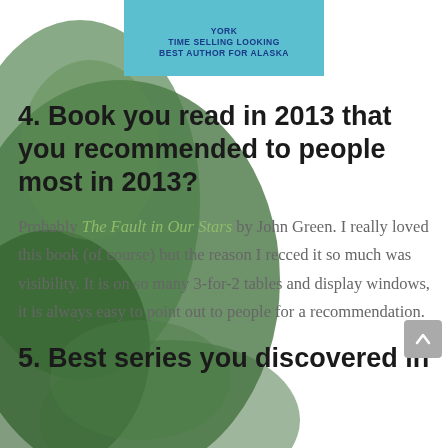[Figure (illustration): Green leafy background with teal banner at top center showing text about New York Times Best Selling Author looking for Alaska, with two teal circles at top of banner.]
4. Book you read in 2013 that you recommended to people most in 2013?
Probably The Fault in Our Stars by John Green. I really loved this book (of course) but the reason I recced it so much was visibility. It is on so many 3-for-2 tables and display windows, it is always easy to point out to people for a recommendation.
5. Best series you discovered in